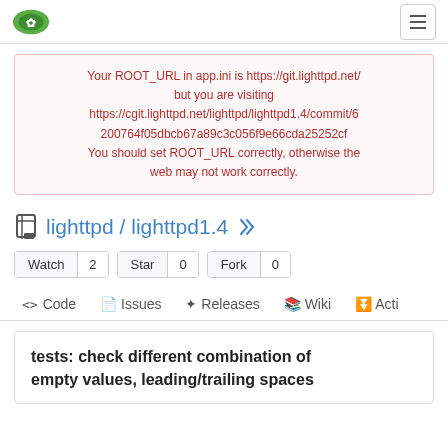Gitea navigation bar with logo and hamburger menu
Your ROOT_URL in app.ini is https://git.lighttpd.net/ but you are visiting https://cgit.lighttpd.net/lighttpd/lighttpd1.4/commit/6200764f05dbcb67a89c3c056f9e66cda25252cf You should set ROOT_URL correctly, otherwise the web may not work correctly.
lighttpd / lighttpd1.4
Watch 2  Star 0  Fork 0
Code  Issues  Releases  Wiki  Acti
tests: check different combination of empty values, leading/trailing spaces